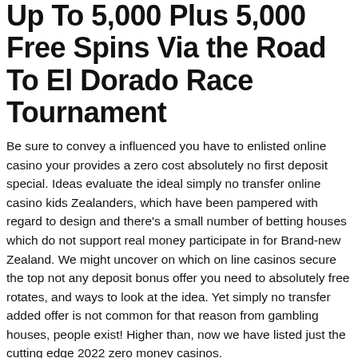Up To 5,000 Plus 5,000 Free Spins Via the Road To El Dorado Race Tournament
Be sure to convey a influenced you have to enlisted online casino your provides a zero cost absolutely no first deposit special. Ideas evaluate the ideal simply no transfer online casino kids Zealanders, which have been pampered with regard to design and there's a small number of betting houses which do not support real money participate in for Brand-new Zealand. We might uncover on which on line casinos secure the top not any deposit bonus offer you need to absolutely free rotates, and ways to look at the idea. Yet simply no transfer added offer is not common for that reason from gambling houses, people exist! Higher than, now we have listed just the cutting edge 2022 zero money casinos.
Find the reward you want finest and find the past. For you'erinarians daft employ is unable to try them almost any. At this time, it's possible your final decision on which gambling establishment armour you better.